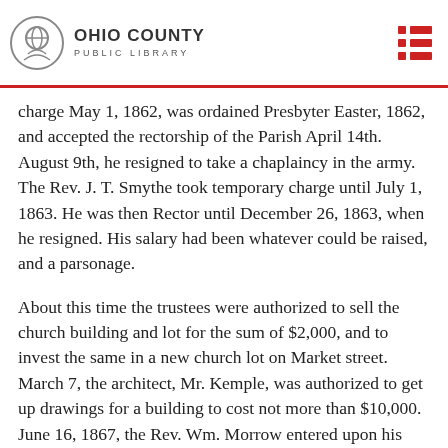Ohio County Public Library
charge May 1, 1862, was ordained Presbyter Easter, 1862, and accepted the rectorship of the Parish April 14th. August 9th, he resigned to take a chaplaincy in the army. The Rev. J. T. Smythe took temporary charge until July 1, 1863. He was then Rector until December 26, 1863, when he resigned. His salary had been whatever could be raised, and a parsonage.
About this time the trustees were authorized to sell the church building and lot for the sum of $2,000, and to invest the same in a new church lot on Market street. March 7, the architect, Mr. Kemple, was authorized to get up drawings for a building to cost not more than $10,000. June 16, 1867, the Rev. Wm. Morrow entered upon his duties as the seventh Rector. Until the completion of the new building, services were held in the United States court room in the